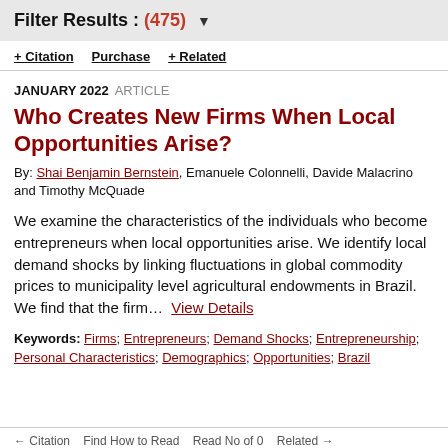Filter Results : (475) ▼
+ Citation   Purchase   + Related
JANUARY 2022   ARTICLE
Who Creates New Firms When Local Opportunities Arise?
By: Shai Benjamin Bernstein, Emanuele Colonnelli, Davide Malacrino and Timothy McQuade
We examine the characteristics of the individuals who become entrepreneurs when local opportunities arise. We identify local demand shocks by linking fluctuations in global commodity prices to municipality level agricultural endowments in Brazil. We find that the firm...  View Details
Keywords: Firms; Entrepreneurs; Demand Shocks; Entrepreneurship; Personal Characteristics; Demographics; Opportunities; Brazil
Citation   Find How to Read   No of 0   Related